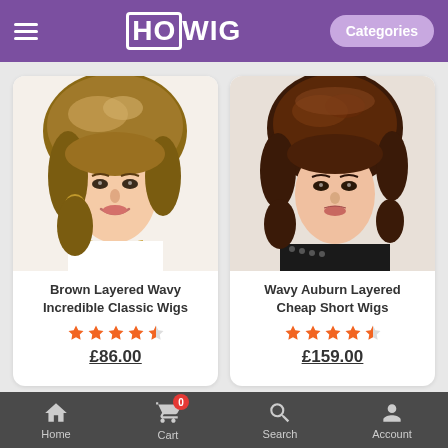HOWIG — Categories
[Figure (photo): Product photo of a woman wearing Brown Layered Wavy Incredible Classic Wig (short brown wavy hair with highlights)]
Brown Layered Wavy Incredible Classic Wigs
★★★★½  £86.00
[Figure (photo): Product photo of a woman wearing Wavy Auburn Layered Cheap Short Wig (short dark auburn layered hair)]
Wavy Auburn Layered Cheap Short Wigs
★★★★½  £159.00
Home  Cart (0)  Search  Account